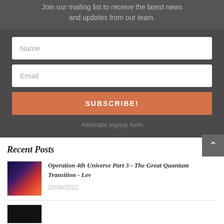Join our mailing list to receive the latest news and updates from our team.
Name
Email
SUBSCRIBE!
Alternate signup form
Recent Posts
Operation 4th Universe Part 3 - The Great Quantum Transition - Lev
20/08/2022